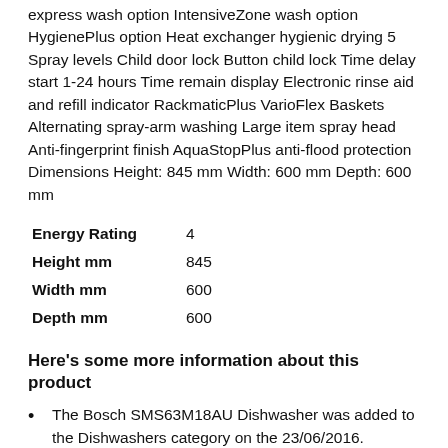express wash option IntensiveZone wash option HygienePlus option Heat exchanger hygienic drying 5 Spray levels Child door lock Button child lock Time delay start 1-24 hours Time remain display Electronic rinse aid and refill indicator RackmaticPlus VarioFlex Baskets Alternating spray-arm washing Large item spray head Anti-fingerprint finish AquaStopPlus anti-flood protection Dimensions Height: 845 mm Width: 600 mm Depth: 600 mm
| Attribute | Value |
| --- | --- |
| Energy Rating | 4 |
| Height mm | 845 |
| Width mm | 600 |
| Depth mm | 600 |
Here's some more information about this product
The Bosch SMS63M18AU Dishwasher was added to the Dishwashers category on the 23/06/2016.
The best price we found for the Bosch SMS63M18AU